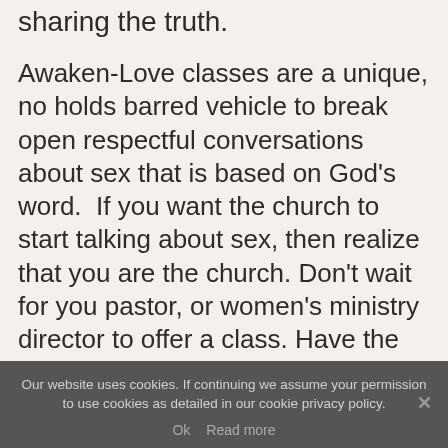God's domain and we ought to love sharing the truth.
Awaken-Love classes are a unique, no holds barred vehicle to break open respectful conversations about sex that is based on God's word.  If you want the church to start talking about sex, then realize that you are the church. Don't wait for you pastor, or women's ministry director to offer a class. Have the courage to sign up for a class and invite your friends. You have no idea who might be desperate for help.
Our website uses cookies. If continuing we assume your permission to use cookies as detailed in our cookie privacy policy.
Ok   Read more